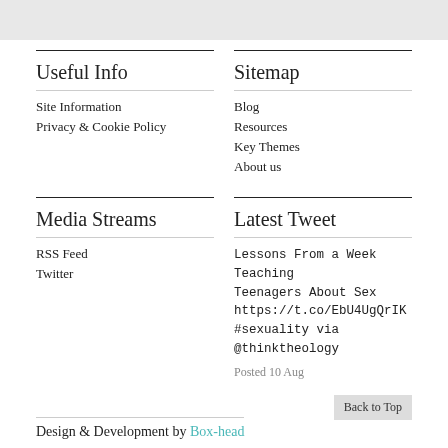Useful Info
Site Information
Privacy & Cookie Policy
Sitemap
Blog
Resources
Key Themes
About us
Media Streams
RSS Feed
Twitter
Latest Tweet
Lessons From a Week Teaching Teenagers About Sex https://t.co/EbU4UgQrIK #sexuality via @thinktheology
Posted 10 Aug
Back to Top
Design & Development by Box-head